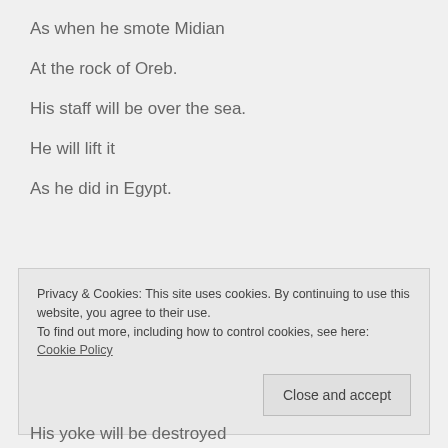As when he smote Midian
At the rock of Oreb.
His staff will be over the sea.
He will lift it
As he did in Egypt.
Privacy & Cookies: This site uses cookies. By continuing to use this website, you agree to their use.
To find out more, including how to control cookies, see here: Cookie Policy
Close and accept
His yoke will be destroyed